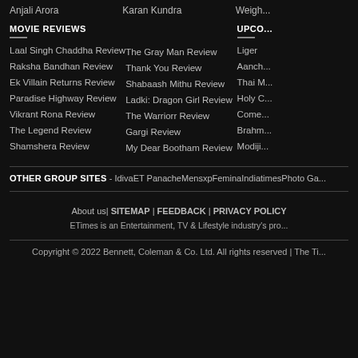Anjali Arora   Karan Kundra   Weigh...
MOVIE REVIEWS
Laal Singh Chaddha Review
Raksha Bandhan Review
Ek Villain Returns Review
Paradise Highway Review
Vikrant Rona Review
The Legend Review
Shamshera Review
The Gray Man Review
Thank You Review
Shabaash Mithu Review
Ladki: Dragon Girl Review
The Warriorr Review
Gargi Review
My Dear Bootham Review
UPCO...
Liger
Aanch...
Thai M...
Holy C...
Come...
Brahm...
Modiji...
OTHER GROUP SITES - IdivaET PanacheMensxpFeminaIndiatimesPhoto Ga...
About us| SITEMAP | FEEDBACK | PRIVACY POLICY
ETimes is an Entertainment, TV & Lifestyle industry's pro...
Copyright © 2022 Bennett, Coleman & Co. Ltd. All rights reserved | The Ti...